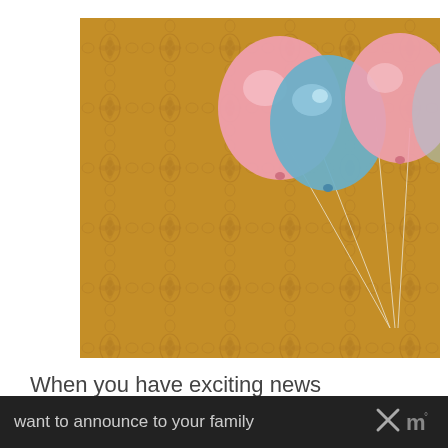[Figure (photo): Photo of pink and blue balloons against a brown/gold ornate damask wallpaper background. A blue balloon is in the center, flanked by two pink balloons. The balloon strings hang down toward the lower right.]
When you have exciting news such as a pregnancy, you might
want to announce to your family